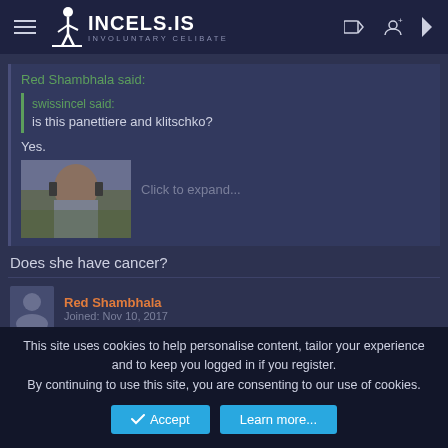INCELS.IS – INVOLUNTARY CELIBATE
Red Shambhala said:
swissincel said:
is this panettiere and klitschko?
Yes.
[Figure (photo): Thumbnail photo of a man, partially visible, with greenery in background. 'Click to expand...' overlay text.]
Does she have cancer?
Red Shambhala
Joined: Nov 10, 2017
This site uses cookies to help personalise content, tailor your experience and to keep you logged in if you register.
By continuing to use this site, you are consenting to our use of cookies.
Accept   Learn more...